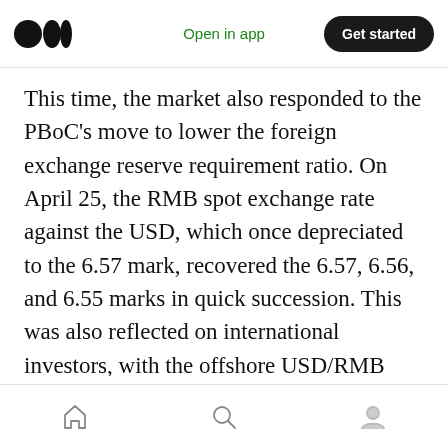Open in app  Get started
This time, the market also responded to the PBoC's move to lower the foreign exchange reserve requirement ratio. On April 25, the RMB spot exchange rate against the USD, which once depreciated to the 6.57 mark, recovered the 6.57, 6.56, and 6.55 marks in quick succession. This was also reflected on international investors, with the offshore USD/RMB exchange rate recovering 6.60, 6.59, and 6.58 marks in quick succession, closing at 6.5701 on the same day. However, on April 26, the offshore RMB fell
Home  Search  Profile